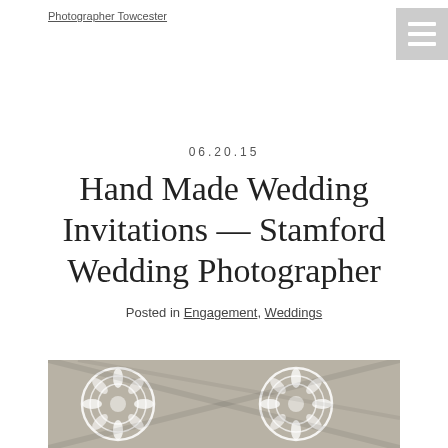Photographer Towcester
06.20.15
Hand Made Wedding Invitations — Stamford Wedding Photographer
Posted in Engagement, Weddings
[Figure (photo): Close-up photo of decorative white lace wedding invitations with floral/snowflake patterns on a dark background]